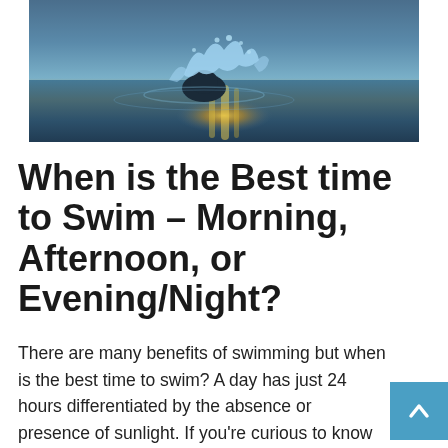[Figure (photo): A swimmer in a pool at sunset/dusk, with water splashing dramatically around their head. The background shows warm golden reflections on the water.]
When is the Best time to Swim – Morning, Afternoon, or Evening/Night?
There are many benefits of swimming but when is the best time to swim? A day has just 24 hours differentiated by the absence or presence of sunlight. If you're curious to know when it's best to swim, you should continue reading. While some might be indifferent about swimming time, others argue that timing plays …